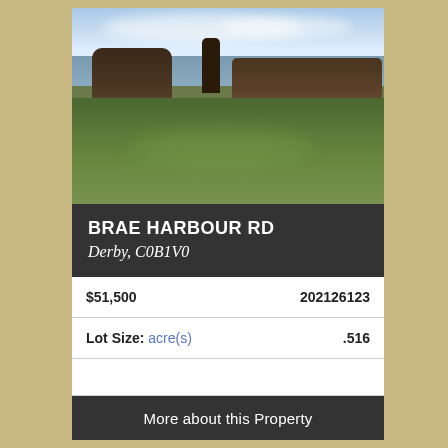[Figure (photo): Outdoor landscape photo showing a green field in the foreground, tall brown brush/shrub vegetation and a dark tree in the middle ground, and a body of water (ocean/sea) and partly cloudy sky in the background.]
BRAE HARBOUR RD
Derby, C0B1V0
| $51,500 | 202126123 |
| Lot Size: acre(s) | .516 |
|  |  |
More about this Property